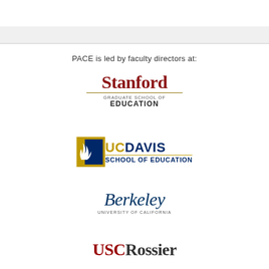[Figure (logo): Gray header bar at top of page]
PACE is led by faculty directors at:
[Figure (logo): Stanford Graduate School of Education logo — 'Stanford' in red serif, gold rule, 'GRADUATE SCHOOL OF' in small caps, 'EDUCATION' in bold caps]
[Figure (logo): UC Davis School of Education logo — gold and blue shield icon, 'UC' in gold bold, 'DAVIS' in blue bold, gold rule, 'SCHOOL of EDUCATION' in blue bold caps]
[Figure (logo): University of California Berkeley logo — 'Berkeley' in large blue italic serif, 'UNIVERSITY OF CALIFORNIA' in small caps below]
[Figure (logo): USC Rossier logo — 'USC' in red bold serif, 'Rossier' in dark bold serif]